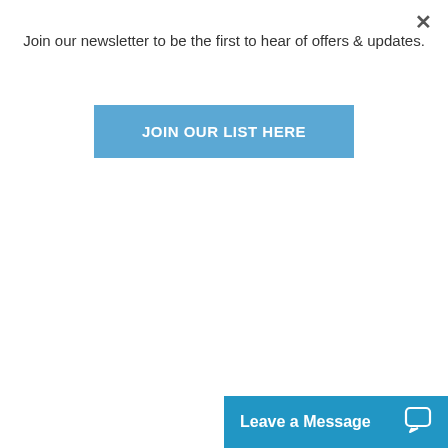×
Join our newsletter to be the first to hear of offers & updates.
JOIN OUR LIST HERE
What our customers say
Excellent company to deal with, from ordering domestic or commercial tanks, right through to delivery and commissioning, truly outstanding in the waste water treatment industry. Highly recommended.
Leave a Message